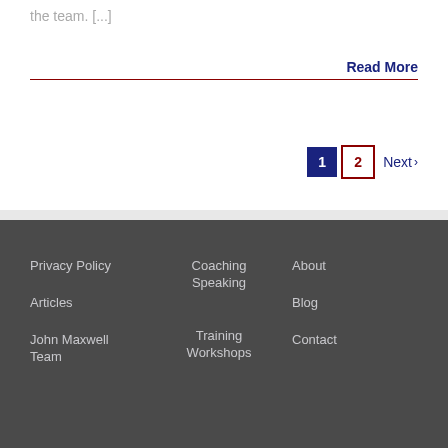the team. [...]
Read More
1  2  Next >
Privacy Policy | Articles | John Maxwell Team | Coaching | Speaking | Training Workshops | About | Blog | Contact